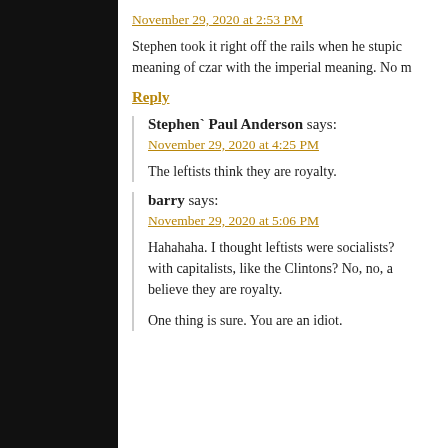November 29, 2020 at 2:53 PM
Stephen took it right off the rails when he stupic meaning of czar with the imperial meaning. No m
Reply
Stephen` Paul Anderson says:
November 29, 2020 at 4:25 PM
The leftists think they are royalty.
barry says:
November 29, 2020 at 5:06 PM
Hahahaha. I thought leftists were socialists? with capitalists, like the Clintons? No, no, a believe they are royalty.
One thing is sure. You are an idiot.